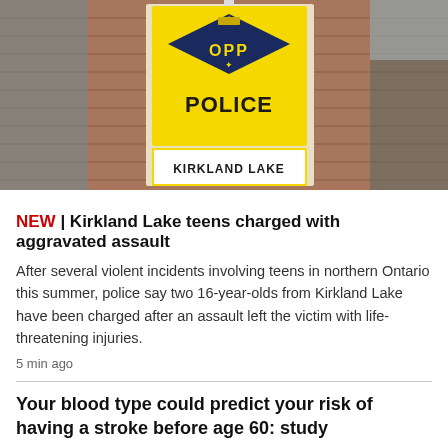[Figure (photo): OPP (Ontario Provincial Police) Kirkland Lake police station sign on a brick building exterior. The sign is yellow with a dark blue OPP badge and reads POLICE and KIRKLAND LAKE.]
NEW | Kirkland Lake teens charged with aggravated assault
After several violent incidents involving teens in northern Ontario this summer, police say two 16-year-olds from Kirkland Lake have been charged after an assault left the victim with life-threatening injuries.
5 min ago
Your blood type could predict your risk of having a stroke before age 60: study